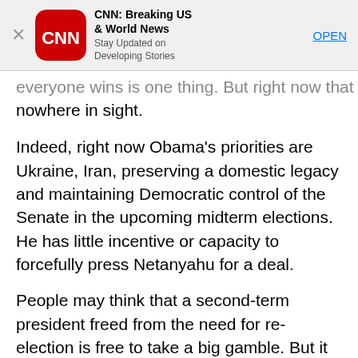[Figure (screenshot): CNN Breaking US & World News app advertisement banner with CNN red logo, title, subtitle 'Stay Updated on Developing Stories', and OPEN button]
everyone wins is one thing. But right now that deal is nowhere in sight.
Indeed, right now Obama's priorities are Ukraine, Iran, preserving a domestic legacy and maintaining Democratic control of the Senate in the upcoming midterm elections. He has little incentive or capacity to forcefully press Netanyahu for a deal.
People may think that a second-term president freed from the need for re-election is free to take a big gamble. But it has really never been the absence of political constraints as much as it is the presence of real opportunity that drives presidents. Obama doesn't want to fail.